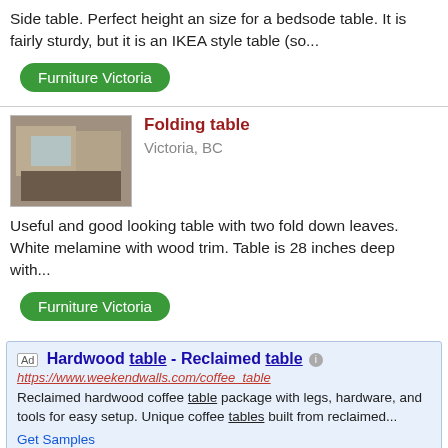Side table. Perfect height an size for a bedsode table. It is fairly sturdy, but it is an IKEA style table (so...
Furniture Victoria
[Figure (photo): Small photo of a folding table in a room]
Folding table
Victoria, BC
Useful and good looking table with two fold down leaves. White melamine with wood trim. Table is 28 inches deep with...
Furniture Victoria
Ad Hardwood table - Reclaimed table
https://www.weekendwalls.com/coffee_table
Reclaimed hardwood coffee table package with legs, hardware, and tools for easy setup. Unique coffee tables built from reclaimed...
Get Samples
Natural Rustic
▶ Visit Website
Ad StableTable - Self-stabilising tables